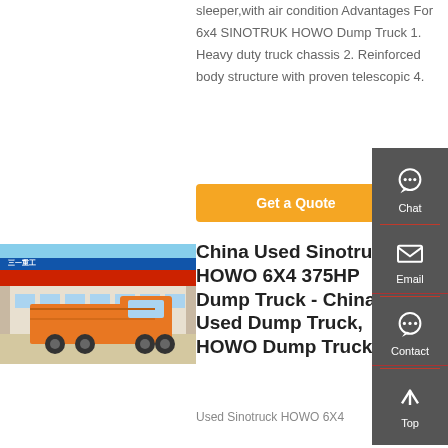sleeper, with air condition Advantages For 6x4 SINOTRUK HOWO Dump Truck 1. Heavy duty truck chassis 2. Reinforced body structure with proven telescopic 4.
Get a Quote
[Figure (photo): Orange Sinotruck HOWO 6X4 375HP dump truck parked in front of a commercial building with red and blue signage.]
China Used Sinotruck HOWO 6X4 375HP Dump Truck - China Used Dump Truck, HOWO Dump Truck
Used Sinotruck HOWO 6X4